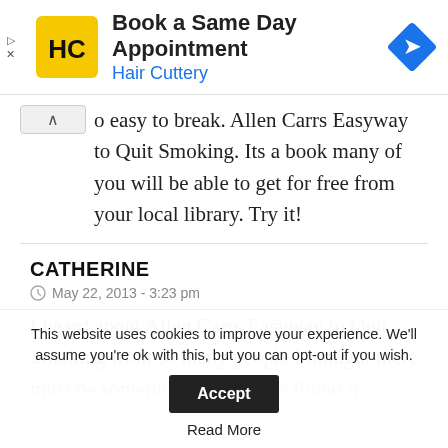[Figure (screenshot): Hair Cuttery advertisement banner: HC logo (yellow square with black HC letters), text 'Book a Same Day Appointment / Hair Cuttery' in blue, and a blue diamond navigation icon on the right. Ad controls (play and close) on the left.]
o easy to break. Allen Carrs Easyway to Quit Smoking. Its a book many of you will be able to get for free from your local library. Try it!
CATHERINE
May 22, 2013 - 3:23 pm
I heard about Allen Carrs Easyway to Quit Smoking from so many people I thought there must be something to it and its found it interesting that it
This website uses cookies to improve your experience. We'll assume you're ok with this, but you can opt-out if you wish.
Accept
Read More